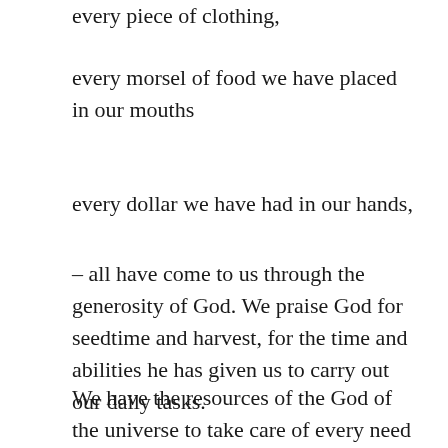every piece of clothing,
every morsel of food we have placed in our mouths
every dollar we have had in our hands,
– all have come to us through the generosity of God. We praise God for seedtime and harvest, for the time and abilities he has given us to carry out our daily tasks.
We have the resources of the God of the universe to take care of every need that we have. With God and all his resources and power caring for our welfare, there is little room for